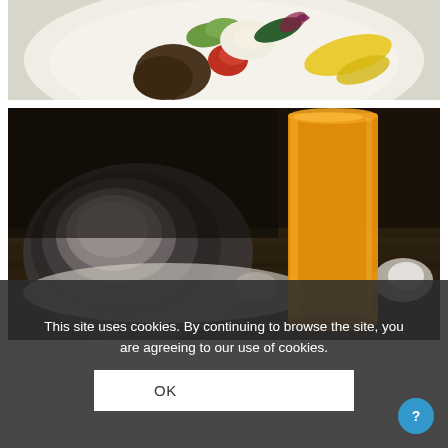[Figure (photo): A close-up food photograph of a plated gourmet dish on a white plate, featuring what appears to be poached eggs, vegetables including cucumber slices, tomatoes, dark mushrooms or meat, and a yellow sauce or coulis, styled as fine dining.]
[Figure (photo): A close-up photograph of restaurant table setting with dark ceramic bowl/plate and a tall glass of fresh orange juice on a dark wooden surface, with blurred greenery in the background.]
This site uses cookies. By continuing to browse the site, you are agreeing to our use of cookies.